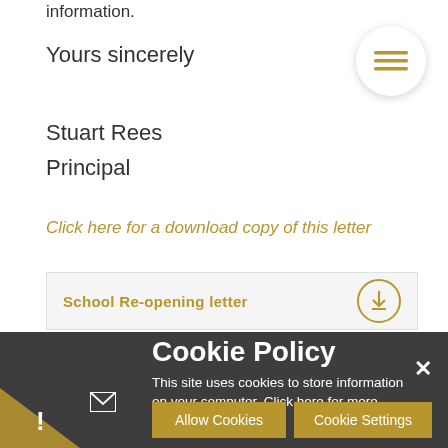information.
Yours sincerely
Stuart Rees
Principal
Click here for a download copy of this letter
School Re-opening letter
Cookie Policy
This site uses cookies to store information on your computer. Click here for more information
Allow Cookies
Cookie Settings